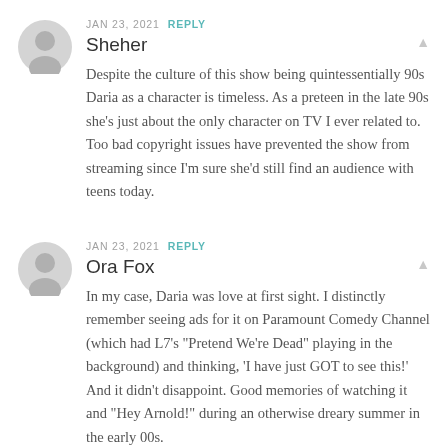JAN 23, 2021  REPLY
Sheher
Despite the culture of this show being quintessentially 90s Daria as a character is timeless. As a preteen in the late 90s she’s just about the only character on TV I ever related to. Too bad copyright issues have prevented the show from streaming since I’m sure she’d still find an audience with teens today.
JAN 23, 2021  REPLY
Ora Fox
In my case, Daria was love at first sight. I distinctly remember seeing ads for it on Paramount Comedy Channel (which had L7’s “Pretend We’re Dead” playing in the background) and thinking, ‘I have just GOT to see this!’ And it didn’t disappoint. Good memories of watching it and “Hey Arnold!” during an otherwise dreary summer in the early 00s.
Daria and Jane are awesome, of course, but my